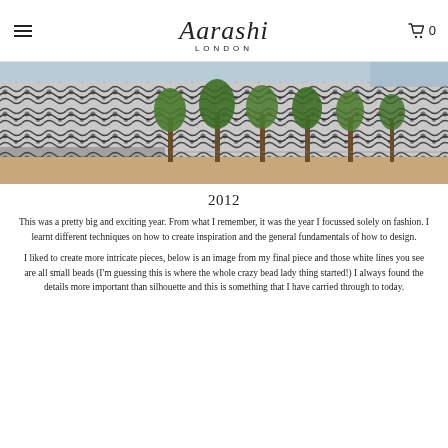Aarashi London — navigation header with logo and cart
[Figure (photo): Wide panoramic photograph of a building with a bold black-and-white patterned facade, with a row of green trees in front along a paved walkway.]
2012
This was a pretty big and exciting year. From what I remember, it was the year I focussed solely on fashion. I learnt different techniques on how to create inspiration and the general fundamentals of how to design.
I liked to create more intricate pieces, below is an image from my final piece and those white lines you see are all small beads (I'm guessing this is where the whole crazy bead lady thing started!) I always found the details more important than silhouette and this is something that I have carried through to today.